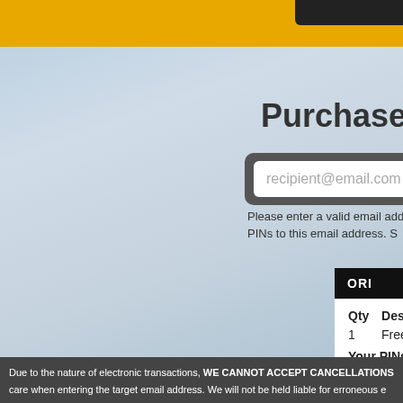Purchase Free
recipient@email.com
Please enter a valid email address. We will email your PINs to this email address. S
| ORI |  |  |
| --- | --- | --- |
| Qty | Description |  |
| 1 | Free Bee ePin 1000 |  |
| Your PINs will be sent to: |  |  |
Due to the nature of electronic transactions, WE CANNOT ACCEPT CANCELLATIONS care when entering the target email address. We will not be held liable for erroneous e